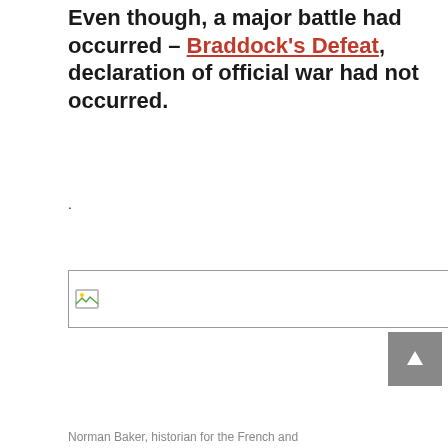Even though, a major battle had occurred – Braddock's Defeat, declaration of official war had not occurred.
.
[Figure (photo): Broken/missing image placeholder with small image icon in the top-left corner]
Norman Baker, historian for the French and